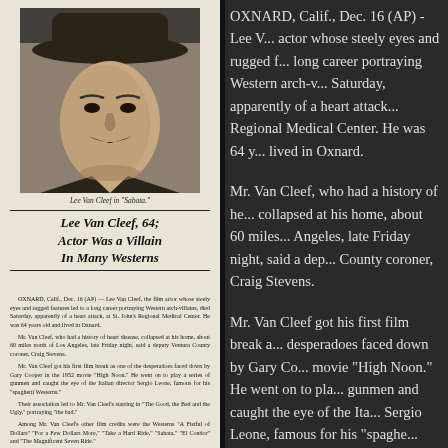[Figure (photo): Black and white photograph of Lee Van Cleef wearing a wide-brimmed hat, with a mustache, in character from the film 'Sabata']
Lee Van Cleef in "Sabata."
Lee Van Cleef, 64; Actor Was a Villain In Many Westerns
OXNARD, Calif., Dec. 16 (AP) — Lee Van Cleef, the film actor whose steely eyes and ragged features led to a long career portraying Western arch-villains, died Saturday, apparently of a heart attack, at St. John's Regional Medical Center. He was 64 years old and lived in Oxnard. Mr. Van Cleef, who had a history of heart disease, collapsed at his home, about 60 miles north of Los Angeles, late Friday night, said a deputy Ventura County coroner, Craig Stevens. Mr. Van Cleef got his first film break as one of the desperadoes faced down by Gary Cooper in the 1952 movie "High Noon." He went on to play a series of gunmen and caught the eye of the Italian director Sergio Leone, famous for his "spaghetti Westerns." Their association led to Mr. Van Cleef's starring in "The Good, the Bad and the Ugly," portraying "the bad." Among Mr. Van Cleef's other film credits were the Westerns "A Fistful of Dollars" "For a Few Dollars More," "Take a Hard Ride," "Sabata," "El Condor" and "The Magnificent Seven Ride." "I believe in showing real violence, not toy violence," Mr. Van Cleef said in a 1970 interview. "Real violence turns you off because you know it's not the thing to do. If you show violence realistic enough, people don't want to do it." Lee Van Cleef was born in Somerville, N.J., on Jan. 9, 1925. His first job was as a farm worker in his home state. He then worked as an accountant in Somerville before beginning his movie career in 1950. He is survived by his wife, the former
OXNARD, Calif., Dec. 16 (AP) - Lee Van Cleef, the film actor whose steely eyes and rugged features led to a long career portraying Western arch-villains, died Saturday, apparently of a heart attack, at St. John's Regional Medical Center. He was 64 years old and lived in Oxnard.
Mr. Van Cleef, who had a history of heart disease, collapsed at his home, about 60 miles north of Los Angeles, late Friday night, said a deputy Ventura County coroner, Craig Stevens.
Mr. Van Cleef got his first film break as one of the desperadoes faced down by Gary Cooper in the 1952 movie "High Noon." He went on to play a series of gunmen and caught the eye of the Italian director Sergio Leone, famous for his "spaghetti Westerns."
Their association led to Mr. Van Cleef's starring in "The Good, the Bad and the Ugly," portraying
Among Mr. Van Cleef's other film credits were the Westerns "A Fistful of Dollars" 'For a Few D...